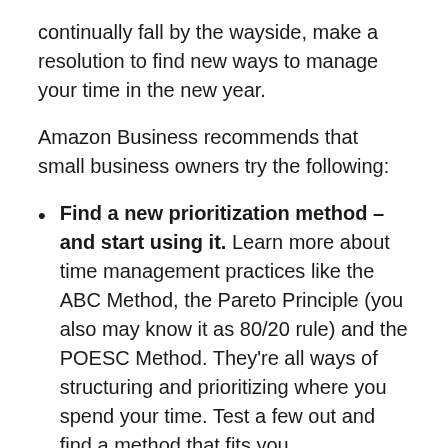continually fall by the wayside, make a resolution to find new ways to manage your time in the new year.
Amazon Business recommends that small business owners try the following:
Find a new prioritization method – and start using it. Learn more about time management practices like the ABC Method, the Pareto Principle (you also may know it as 80/20 rule) and the POESC Method. They're all ways of structuring and prioritizing where you spend your time. Test a few out and find a method that fits you.
Delegate. Even if you consider yourself a jack-of-all-trades, you can't physically do everything.